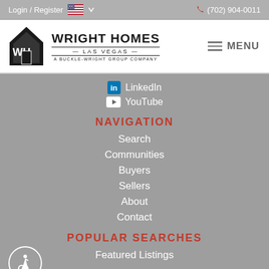Login / Register  (702) 904-0011
[Figure (logo): Wright Homes Las Vegas logo with WH house icon and text 'A Buckle-Wright Group Company']
LinkedIn
YouTube
NAVIGATION
Search
Communities
Buyers
Sellers
About
Contact
POPULAR SEARCHES
Featured Listings